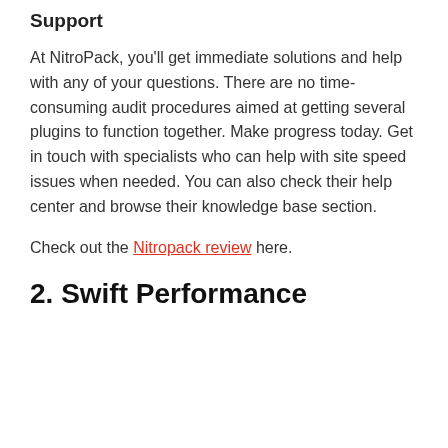Support
At NitroPack, you'll get immediate solutions and help with any of your questions. There are no time-consuming audit procedures aimed at getting several plugins to function together. Make progress today. Get in touch with specialists who can help with site speed issues when needed. You can also check their help center and browse their knowledge base section.
Check out the Nitropack review here.
2. Swift Performance